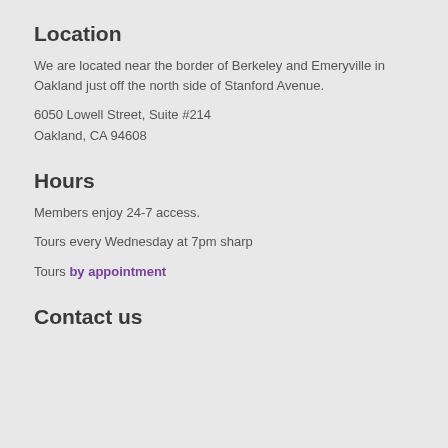Location
We are located near the border of Berkeley and Emeryville in Oakland just off the north side of Stanford Avenue.
6050 Lowell Street, Suite #214
Oakland, CA 94608
Hours
Members enjoy 24-7 access.
Tours every Wednesday at 7pm sharp
Tours by appointment
Contact us